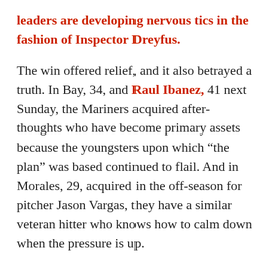leaders are developing nervous tics in the fashion of Inspector Dreyfus.
The win offered relief, and it also betrayed a truth. In Bay, 34, and Raul Ibanez, 41 next Sunday, the Mariners acquired after-thoughts who have become primary assets because the youngsters upon which “the plan” was based continued to flail. And in Morales, 29, acquired in the off-season for pitcher Jason Vargas, they have a similar veteran hitter who knows how to calm down when the pressure is up.
Bay, Morales and Ibanez drove in all the runs and had six hits in support of starter Hisashi Iwakuma, who was again impressive after a bumpy start. Even Endy Chavez, 35, now the leadoff hitter, had two hits.
These guys have in common the ability to manage their at-